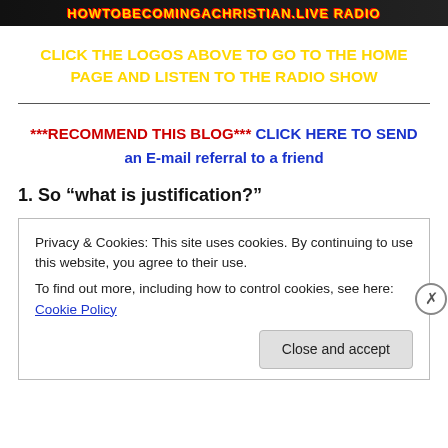[Figure (logo): Dark banner with yellow/red text logo for a Christian radio website]
CLICK THE LOGOS ABOVE TO GO TO THE HOME PAGE AND LISTEN TO THE RADIO SHOW
***RECOMMEND THIS BLOG*** CLICK HERE TO SEND an E-mail referral to a friend
1. So “what is justification?”
Privacy & Cookies: This site uses cookies. By continuing to use this website, you agree to their use.
To find out more, including how to control cookies, see here: Cookie Policy